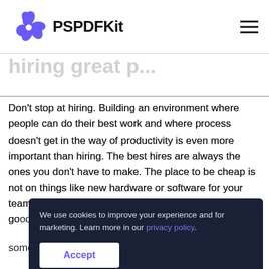PSPDFKit
Hiring great people
Don't stop at hiring. Building an environment where people can do their best work and where process doesn't get in the way of productivity is even more important than hiring. The best hires are always the ones you don't have to make. The place to be cheap is not on things like new hardware or software for your team. Take good care of your people and they'll take good care of your customers. Saying that someone can be let go... someone sucks and should never be taken lightly. At
We use cookies to improve your experience and for marketing. Learn more in our privacy policy.
Accept